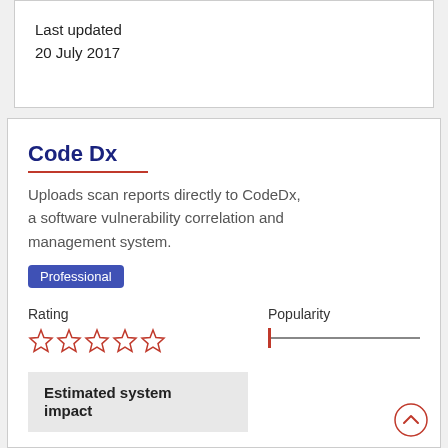Last updated
20 July 2017
Code Dx
Uploads scan reports directly to CodeDx, a software vulnerability correlation and management system.
Professional
Rating
[Figure (other): 5 empty orange star rating icons]
Popularity
[Figure (other): Popularity slider bar, tick at leftmost position]
Estimated system impact